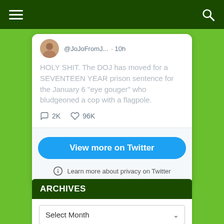@JoJoFromJ... · 10h
HOLY SHIT. The DOJ has moved for a SEVENTEEN YEAR prison sentence for the January 6 "eye gouger" who bludgeoned a cop with a flagpole.
2K  96K
View more on Twitter
Learn more about privacy on Twitter
ARCHIVES
Select Month